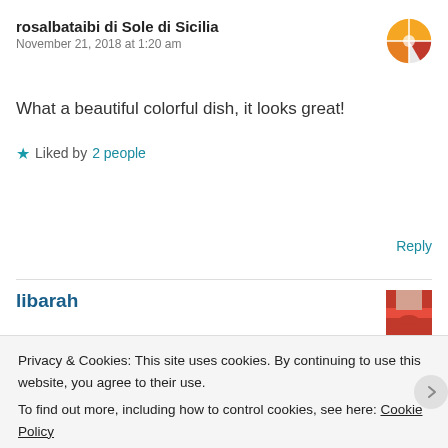rosalbataibi di Sole di Sicilia
November 21, 2018 at 1:20 am
[Figure (illustration): User avatar icon — orange and red circular icon with white decorative pattern]
What a beautiful colorful dish, it looks great!
★ Liked by 2 people
Reply
libarah
[Figure (photo): Small thumbnail photo of a person]
Privacy & Cookies: This site uses cookies. By continuing to use this website, you agree to their use.
To find out more, including how to control cookies, see here: Cookie Policy
Close and accept